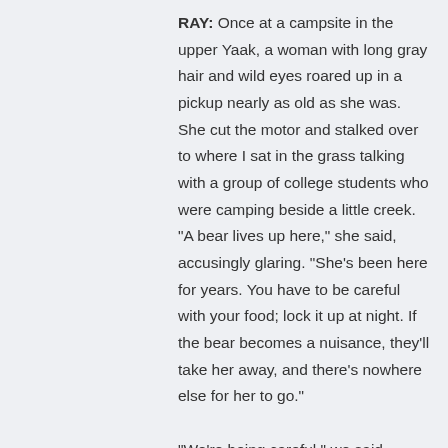RAY: Once at a campsite in the upper Yaak, a woman with long gray hair and wild eyes roared up in a pickup nearly as old as she was. She cut the motor and stalked over to where I sat in the grass talking with a group of college students who were camping beside a little creek. "A bear lives up here," she said, accusingly glaring. "She's been here for years. You have to be careful with your food; lock it up at night. If the bear becomes a nuisance, they'll take her away, and there's nowhere else for her to go."

"We're being careful," we said